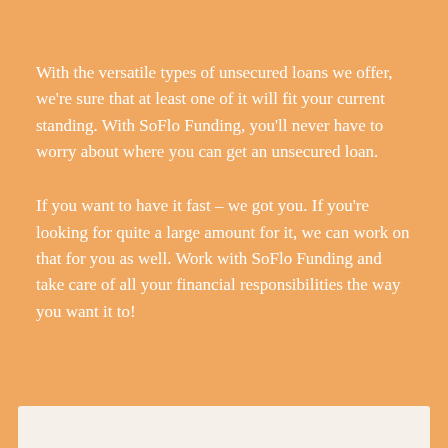With the versatile types of unsecured loans we offer, we're sure that at least one of it will fit your current standing. With SoFlo Funding, you'll never have to worry about where you can get an unsecured loan.
If you want to have it fast – we got you. If you're looking for quite a large amount for it, we can work on that for you as well. Work with SoFlo Funding and take care of all your financial responsibilities the way you want it to!